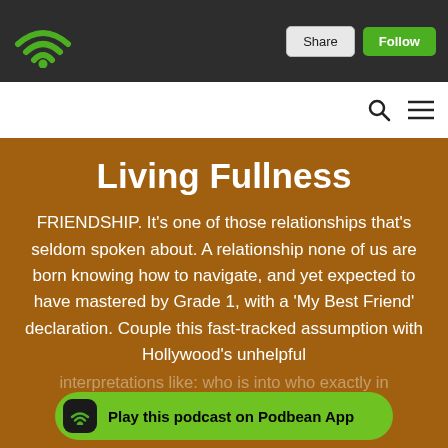[Figure (screenshot): Podbean podcast app top navigation bar with logo, Share and Follow buttons]
[Figure (screenshot): White navigation bar with search and hamburger menu icons]
Living Fullness
FRIENDSHIP. It’s one of those relationships that’s seldom spoken about. A relationship none of us are born knowing how to navigate, and yet expected to have mastered by Grade 1, with a ‘My Best Friend’ declaration. Couple this fast-tracked assumption with Hollywood’s unhelpful interpretations like: who is into who exactly in F... le
Play this podcast on Podbean App